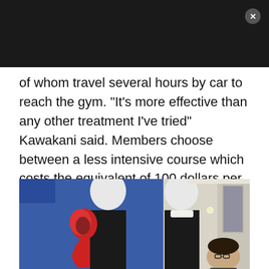of whom travel several hours by car to reach the gym. “It’s more effective than any other treatment I’ve tried” Kawakani said. Members choose between a less intensive course which costs the equivalent of 100 dollars per hour, or an intensive course which sets members back 1000 dollars for five days of treatment.
[Figure (photo): Photo of mannequins wearing a black outfit with red boxing/training equipment attached at the shoulders, displayed against a blue background. A person with dark hair and glasses is visible in the lower right.]